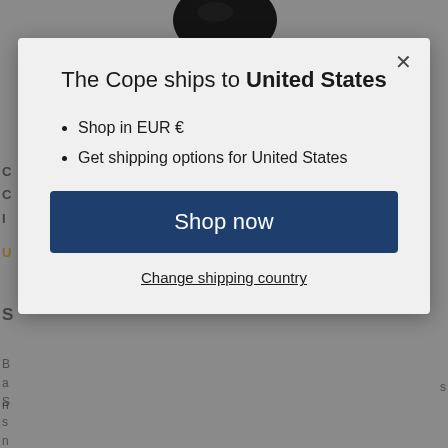[Figure (screenshot): E-commerce website modal dialog showing shipping information. Background shows a product page with a dark spherical object at top. A modal overlay contains shipping options for United States.]
The Cope ships to United States
Shop in EUR €
Get shipping options for United States
Shop now
Change shipping country